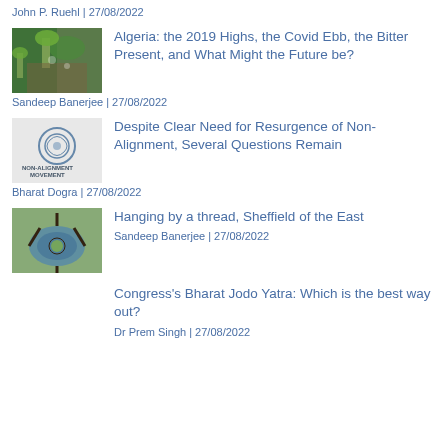John P. Ruehl | 27/08/2022
Algeria: the 2019 Highs, the Covid Ebb, the Bitter Present, and What Might the Future be?
Sandeep Banerjee | 27/08/2022
Despite Clear Need for Resurgence of Non-Alignment, Several Questions Remain
Bharat Dogra | 27/08/2022
Hanging by a thread, Sheffield of the East
Sandeep Banerjee | 27/08/2022
Congress's Bharat Jodo Yatra: Which is the best way out?
Dr Prem Singh | 27/08/2022